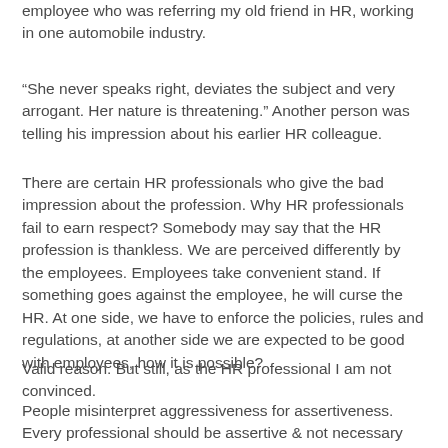employee who was referring my old friend in HR, working in one automobile industry.
“She never speaks right, deviates the subject and very arrogant. Her nature is threatening.” Another person was telling his impression about his earlier HR colleague.
There are certain HR professionals who give the bad impression about the profession. Why HR professionals fail to earn respect? Somebody may say that the HR profession is thankless. We are perceived differently by the employees. Employees take convenient stand. If something goes against the employee, he will curse the HR. At one side, we have to enforce the policies, rules and regulations, at another side we are expected to be good with employees, how it is possible?
Valid reason. But still, as the HR professional I am not convinced.
People misinterpret aggressiveness for assertiveness. Every professional should be assertive & not necessary